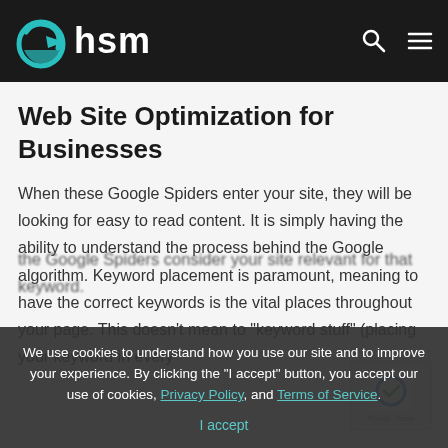hsm
Web Site Optimization for Businesses
When these Google Spiders enter your site, they will be looking for easy to read content. It is simply having the ability to understand the process behind the Google algorithm. Keyword placement is paramount, meaning to have the correct keywords is the vital places throughout your page. This doesn’t mean to “keyword stuff” (placing your keyword in every
the Google Spiders consider your site relevant for that keyword.
We use cookies to understand how you use our site and to improve your experience. By clicking the "I accept" button, you accept our use of cookies, Privacy Policy, and Terms of Service.
I accept